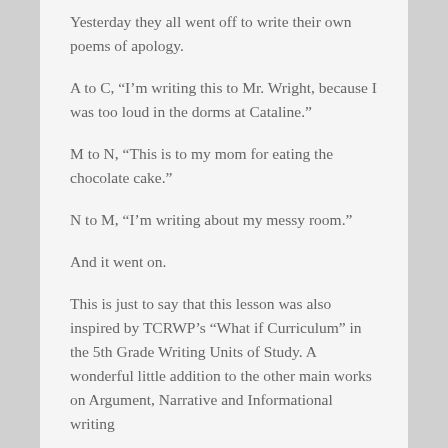Yesterday they all went off to write their own poems of apology.
A to C, “I’m writing this to Mr. Wright, because I was too loud in the dorms at Cataline.”
M to N, “This is to my mom for eating the chocolate cake.”
N to M, “I’m writing about my messy room.”
And it went on.
This is just to say that this lesson was also inspired by TCRWP’s “What if Curriculum” in the 5th Grade Writing Units of Study. A wonderful little addition to the other main works on Argument, Narrative and Informational writing